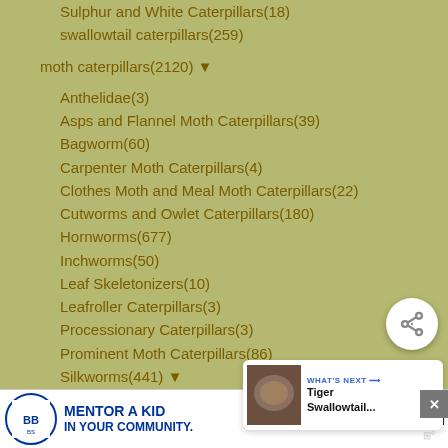Sulphur and White Caterpillars(18)
swallowtail caterpillars(259)
moth caterpillars(2120) ▼
Anthelidae(3)
Asps and Flannel Moth Caterpillars(39)
Bagworm(60)
Carpenter Moth Caterpillars(4)
Clothes Moth and Meal Moth Caterpillars(22)
Cutworms and Owlet Caterpillars(180)
Hornworms(677)
Inchworms(50)
Leaf Skeletonizers(10)
Leafroller Caterpillars(3)
Processionary Caterpillars(3)
Prominent Moth Caterpillars(86)
Silkworms(441) ▼
Hickory Horned Devil(33)
Snout Moth Caterpillars(15)
Stinging Slug Caterpillars(162)
[Figure (screenshot): Share button (circular white button with share icon)]
[Figure (screenshot): What's Next card showing Tiger Swallowtail... with thumbnail image]
[Figure (advertisement): Big Brothers Big Sisters ad: Mentor a Kid In Your Community. Learn How.]